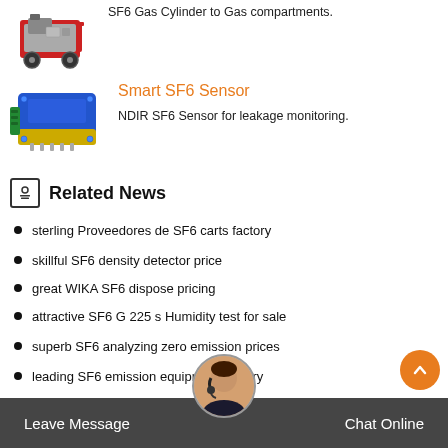[Figure (photo): Red and grey SF6 gas cart machine on wheels]
SF6 Gas Cylinder to Gas compartments.
[Figure (photo): Blue and gold NDIR SF6 sensor device]
Smart SF6 Sensor
NDIR SF6 Sensor for leakage monitoring.
Related News
sterling Proveedores de SF6 carts factory
skillful SF6 density detector price
great WIKA SF6 dispose pricing
attractive SF6 G 225 s Humidity test for sale
superb SF6 analyzing zero emission prices
leading SF6 emission equipment factory
Leave Message   Chat Online